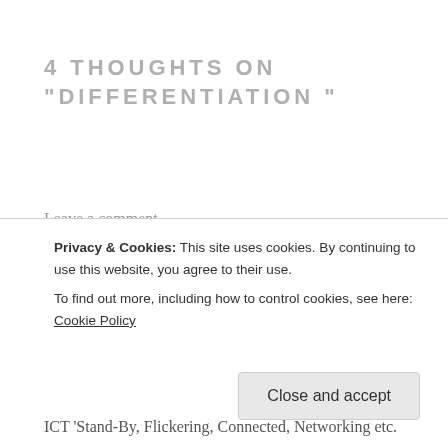4 THOUGHTS ON “DIFFERENTIATION ”
Leave a comment
mriwade
Mar 11, 2015 at 4:08 pm
I agree with much of what you have said. I too have used the ‘Chillies’ concept in the past. Teaching Food Technology I use Ski-Runs with ‘Mild, Medium, Spicy
Privacy & Cookies: This site uses cookies. By continuing to use this website, you agree to their use.
To find out more, including how to control cookies, see here: Cookie Policy
Close and accept
ICT ‘Stand-By, Flickering, Connected, Networking etc.